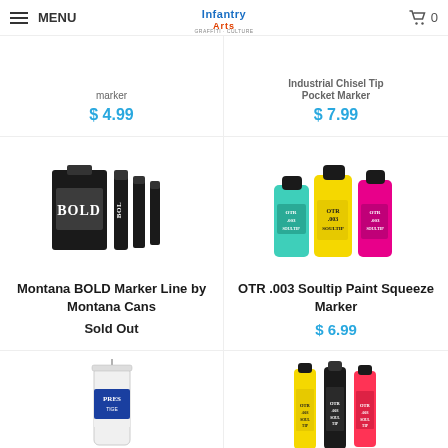MENU | InfantryArts logo | cart 0
marker (partial product name) — $ 4.99
Industrial Chisel Tip Pocket Marker — $ 7.99
[Figure (photo): Montana BOLD Marker Line – black ink bottle labeled BOLD and three black markers labeled BOL]
Montana BOLD Marker Line by Montana Cans
Sold Out
[Figure (photo): OTR .003 Soultip Paint Squeeze Markers – three squeeze bottles in teal, yellow, and pink labeled OTR Soultip]
OTR .003 Soultip Paint Squeeze Marker
$ 6.99
[Figure (photo): Prestige white squeeze bottle with pointed tip]
[Figure (photo): Three OTR Soultip markers in yellow, black, and red/pink]